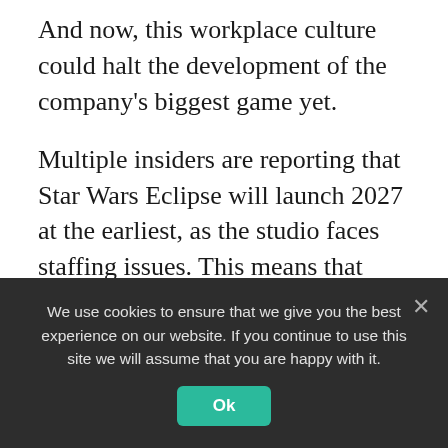And now, this workplace culture could halt the development of the company's biggest game yet.
Multiple insiders are reporting that Star Wars Eclipse will launch 2027 at the earliest, as the studio faces staffing issues. This means that there might be six years in between Eclipse's reveal and release, raising questions as to why it was teased last year at all.
Xfire's Tom Henderson reported yesterday that
We use cookies to ensure that we give you the best experience on our website. If you continue to use this site we will assume that you are happy with it.